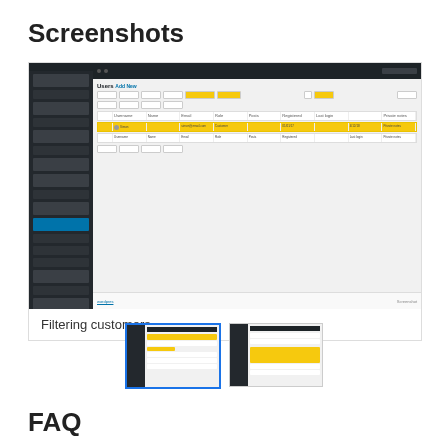Screenshots
[Figure (screenshot): WordPress admin panel showing Users list with filtering customers feature. Dark sidebar on left, top admin bar, main content area showing a users table with one highlighted row in yellow showing customer data.]
Filtering customers
[Figure (screenshot): Two small thumbnail screenshots of the WordPress admin interface showing customer filtering functionality, with yellow highlighted rows.]
FAQ